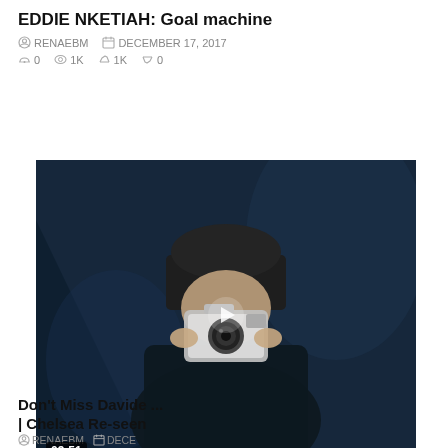EDDIE NKETIAH: Goal machine
RENAEBM  DECEMBER 17, 2017
0  1K  1K  0
[Figure (screenshot): Video thumbnail showing a person in a dark beanie hat holding a camera, dark blue background, with a play button overlay and timestamp 09:51]
[Figure (screenshot): Popup video card titled 'TEAMS RESPECT US – Yaya T...' with up arrow and X close button, showing same video thumbnail with play button]
Don't Miss Davide ... | Chelsea Re-seen
RENAEBM  DECE...
0  252  85